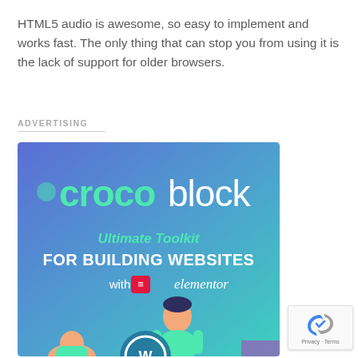HTML5 audio is awesome, so easy to implement and works fast. The only thing that can stop you from using it is the lack of support for older browsers.
ADVERTISING
[Figure (illustration): Crocoblock advertisement banner: blue-to-teal gradient background with 'crocoblock' logo in large green and white text, subtitle 'Ultimate Toolkit FOR BUILDING WEBSITES with elementor', and an illustrated person with WordPress logo at the bottom.]